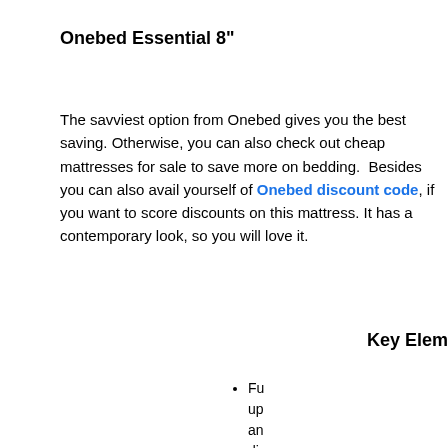Onebed Essential 8"
The savviest option from Onebed gives you the best saving. Otherwise, you can also check out cheap mattresses for sale to save more on bedding.  Besides you can also avail yourself of Onebed discount code, if you want to score discounts on this mattress. It has a contemporary look, so you will love it.
Key Elem
Fu... up... an... dia... sti...
Su... to ... ma...
Av... dif...